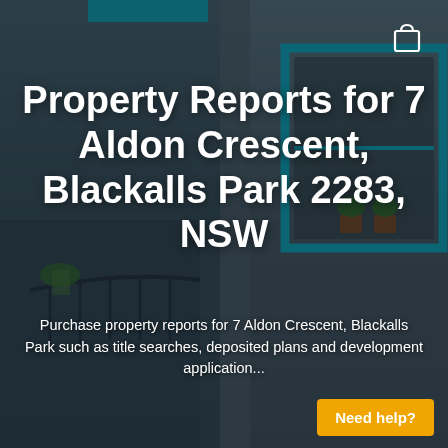[Figure (photo): Background photo of an apartment building with teal/blue window frames, balcony with plants, and a semi-transparent dark overlay]
Property Reports for 7 Aldon Crescent, Blackalls Park 2283, NSW
Purchase property reports for 7 Aldon Crescent, Blackalls Park such as title searches, deposited plans and development application...
Need help?